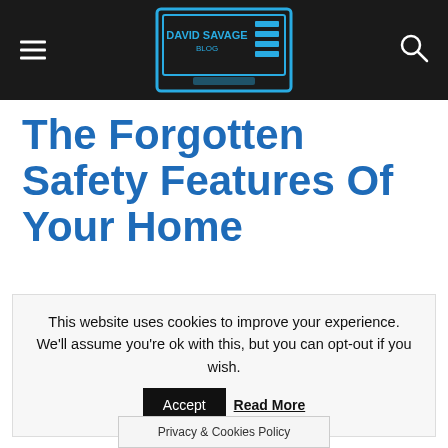David Savage Blog header with hamburger menu and search icon
The Forgotten Safety Features Of Your Home
This website uses cookies to improve your experience. We'll assume you're ok with this, but you can opt-out if you wish. Accept Read More
Privacy & Cookies Policy